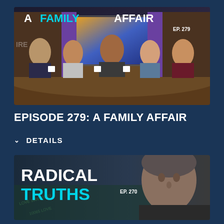[Figure (photo): TV show thumbnail for Episode 279: A Family Affair. Shows five people seated at a curved desk in a TV studio. Text overlay reads 'A FAMILY AFFAIR' with 'FAMILY' in cyan and 'EP. 279' in top right.]
EPISODE 279: A FAMILY AFFAIR
DETAILS
[Figure (photo): TV show thumbnail for Episode 270: Radical Truths. Shows a man's face on the right side. Text overlay reads 'RADICAL TRUTHS' with 'TRUTHS' in cyan and 'EP. 270' visible.]